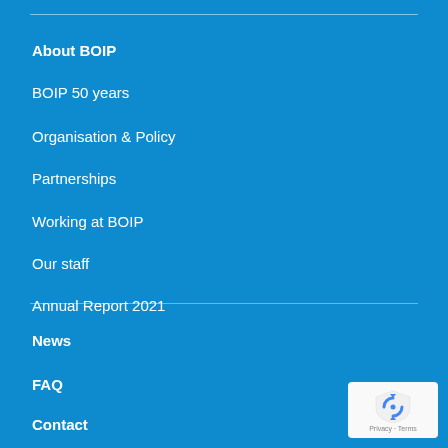About BOIP
BOIP 50 years
Organisation & Policy
Partnerships
Working at BOIP
Our staff
Annual Report 2021
News
FAQ
Contact
[Figure (logo): Google reCAPTCHA badge with shield icon and Privacy - Terms text]